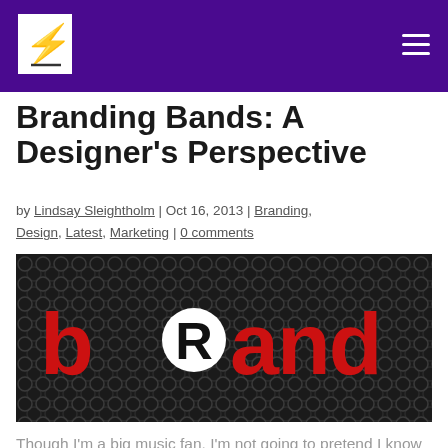Branding Bands: A Designer's Perspective
Branding Bands: A Designer's Perspective
by Lindsay Sleightholm | Oct 16, 2013 | Branding, Design, Latest, Marketing | 0 comments
[Figure (photo): A dark hexagonal mesh background with the word 'brand' written in large red letters, featuring a white circle with a registered trademark 'R' symbol replacing the letter 'a'.]
Though I'm a big music fan, I'm not going to pretend I know much about the actual music industry. But I do know a lot about